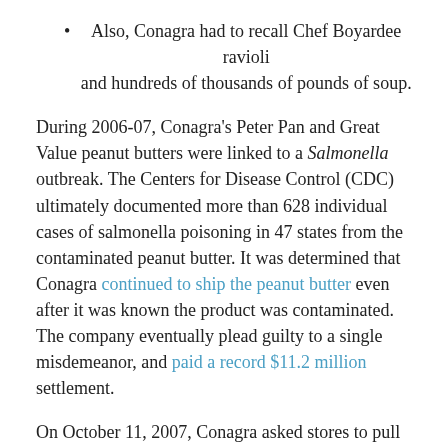Also, Conagra had to recall Chef Boyardee ravioli and hundreds of thousands of pounds of soup.
During 2006-07, Conagra's Peter Pan and Great Value peanut butters were linked to a Salmonella outbreak. The Centers for Disease Control (CDC) ultimately documented more than 628 individual cases of salmonella poisoning in 47 states from the contaminated peanut butter. It was determined that Conagra continued to ship the peanut butter even after it was known the product was contaminated. The company eventually plead guilty to a single misdemeanor, and paid a record $11.2 million settlement.
On October 11, 2007, Conagra asked stores to pull their chicken and turkey pot pies (Banquet brand and generic), after 152 reported cases of Salmonella poisoning in 31 states. The Marshall, Missouri plant where the pot pies were manufactured closed that same day. The next day, a full recall was issued for frozen pot